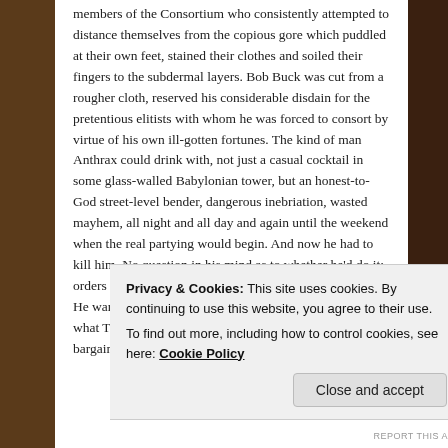members of the Consortium who consistently attempted to distance themselves from the copious gore which puddled at their own feet, stained their clothes and soiled their fingers to the subdermal layers. Bob Buck was cut from a rougher cloth, reserved his considerable disdain for the pretentious elitists with whom he was forced to consort by virtue of his own ill-gotten fortunes. The kind of man Anthrax could drink with, not just a casual cocktail in some glass-walled Babylonian tower, but an honest-to-God street-level bender, dangerous inebriation, wasted mayhem, all night and all day and again until the weekend when the real partying would begin. And now he had to kill him. No question in his mind as to whether he'd do it; orders was orders. Just seemed a damn shame, that's all. He wanted to ask why. But that wasn't his biz. He did what They told him, and They covered his ass. Hard bargain.
Privacy & Cookies: This site uses cookies. By continuing to use this website, you agree to their use.
To find out more, including how to control cookies, see here: Cookie Policy
Close and accept
REPORT THIS AD